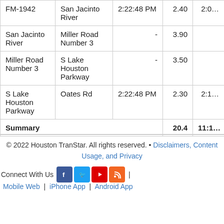| From | To | Open Time | Miles | Travel Time |
| --- | --- | --- | --- | --- |
| FM-1942 | San Jacinto River | 2:22:48 PM | 2.40 | 2:0… |
| San Jacinto River | Miller Road Number 3 | - | 3.90 |  |
| Miller Road Number 3 | S Lake Houston Parkway | - | 3.50 |  |
| S Lake Houston Parkway | Oates Rd | 2:22:48 PM | 2.30 | 2:1… |
| Summary |  |  | 20.4 | 11:1… |
© 2022 Houston TranStar. All rights reserved. • Disclaimers, Content Usage, and Privacy
Connect With Us | Mobile Web | iPhone App | Android App